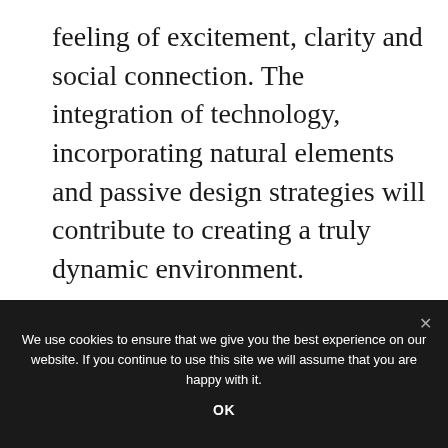feeling of excitement, clarity and social connection. The integration of technology, incorporating natural elements and passive design strategies will contribute to creating a truly dynamic environment.
[Figure (illustration): A scanned document page titled 'THE WAY OF NATURE' with subtitle 'Porosity', containing columns of text, maps, rock texture photographs, an aerial photo of a tree-lined plaza, and three 3D architectural block diagrams showing passive design strategies. A watermark reading 'DADAMENA' is visible in the top right.]
We use cookies to ensure that we give you the best experience on our website. If you continue to use this site we will assume that you are happy with it.
OK